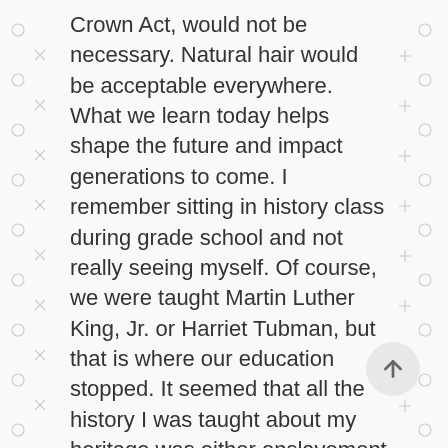Crown Act, would not be necessary. Natural hair would be acceptable everywhere. What we learn today helps shape the future and impact generations to come. I remember sitting in history class during grade school and not really seeing myself. Of course, we were taught Martin Luther King, Jr. or Harriet Tubman, but that is where our education stopped. It seemed that all the history I was taught about my heritage was either enslavement or civil rights. James Baldwin described in 1963: ‘I began to be bugged by the teaching of American history, because it seemed that history had been taught without cognizance of my presence.’ It's hard growing up and not seeing yourself in